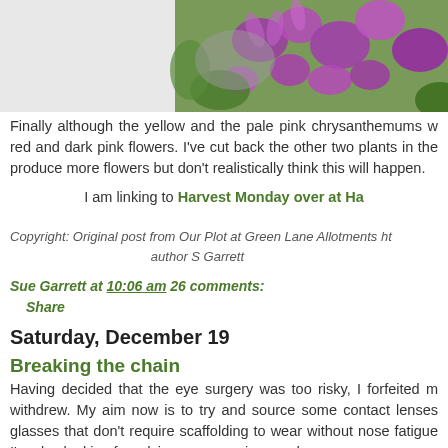[Figure (photo): Close-up photograph of purple/pink chrysanthemum flowers with green foliage background, cropped at top of page]
Finally although the yellow and the pale pink chrysanthemums w... red and dark pink flowers. I've cut back the other two plants in the... produce more flowers but don't realistically think this will happen.
I am linking to Harvest Monday over at Ha...
Copyright: Original post from Our Plot at Green Lane Allotments ht... author S Garrett
Sue Garrett at 10:06 am 26 comments:
    Share
Saturday, December 19
Breaking the chain
Having decided that the eye surgery was too risky, I forfeited m... withdrew. My aim now is to try and source some contact lenses... glasses that don't require scaffolding to wear without nose fatigue... I'm also looking for advice on managing my dry eyes.